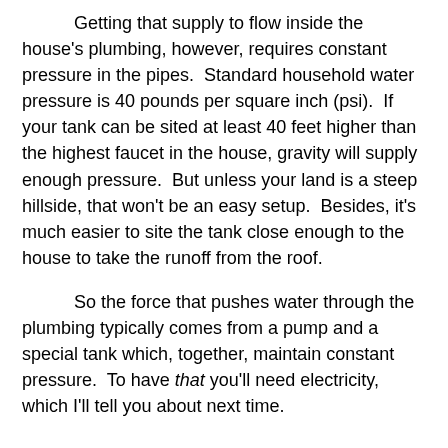Getting that supply to flow inside the house's plumbing, however, requires constant pressure in the pipes.  Standard household water pressure is 40 pounds per square inch (psi).  If your tank can be sited at least 40 feet higher than the highest faucet in the house, gravity will supply enough pressure.  But unless your land is a steep hillside, that won't be an easy setup.  Besides, it's much easier to site the tank close enough to the house to take the runoff from the roof.
So the force that pushes water through the plumbing typically comes from a pump and a special tank which, together, maintain constant pressure.  To have that you'll need electricity, which I'll tell you about next time.
View Other Posts in the “Could You Live Off-the-Grid?” Series